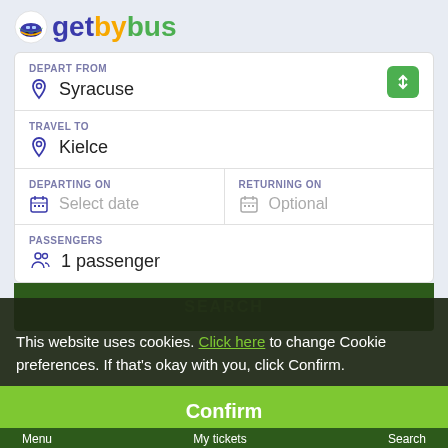[Figure (logo): getbybus logo with colorful bus icon. 'get' in blue, 'by' in orange, 'bus' in green.]
DEPART FROM
Syracuse
TRAVEL TO
Kielce
DEPARTING ON
Select date
RETURNING ON
Optional
PASSENGERS
1 passenger
SEARCH
This website uses cookies. Click here to change Cookie preferences. If that's okay with you, click Confirm.
Confirm
Menu    My tickets    Search